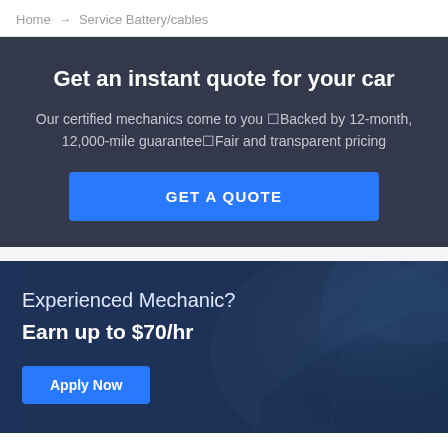Home → Service Battery/cables
Get an instant quote for your car
Our certified mechanics come to you ❑Backed by 12-month, 12,000-mile guarantee❑Fair and transparent pricing
GET A QUOTE
Experienced Mechanic?
Earn up to $70/hr